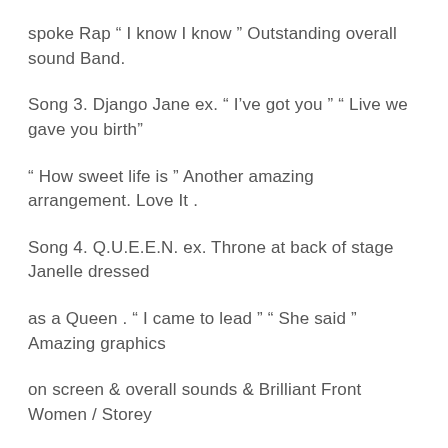spoke Rap “ I know I know ” Outstanding overall sound Band.
Song 3. Django Jane ex. “ I’ve got you ” “ Live we gave you birth”
“ How sweet life is ” Another amazing arrangement. Love It .
Song 4. Q.U.E.E.N. ex. Throne at back of stage Janelle dressed
as a Queen . “ I came to lead ” “ She said ” Amazing graphics
on screen & overall sounds & Brilliant Front Women / Storey